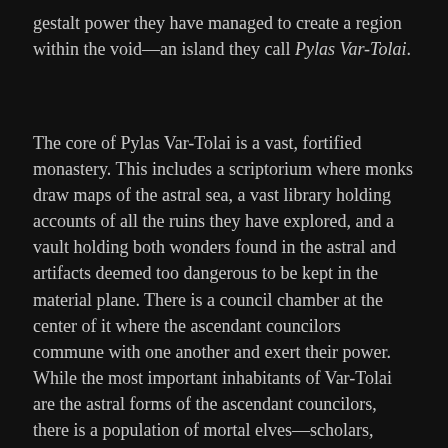gestalt power they have managed to create a region within the void—an island they call Pylas Var-Tolai.
The core of Pylas Var-Tolai is a vast, fortified monastery. This includes a scriptorium where monks draw maps of the astral sea, a vast library holding accounts of all the ruins they have explored, and a vault holding both wonders found in the astral and artifacts deemed too dangerous to be kept in the material plane. There is a council chamber at the center of it where the ascendant councilors commune with one another and exert their power. While the most important inhabitants of Var-Tolai are the astral forms of the ascendant councilors, there is a population of mortal elves—scholars, priests, and soldiers—who are physically present. While Pylas Var-Tolai is primarily a research outpost, it also serves as a waystation for Aereni who have business in the planes; as such it does have a small capacity for guests, and there are usually a handful of travelers along with the permanent staff. Whoever, the monastery is driven by research, not commerce. If adventurers come to the gates